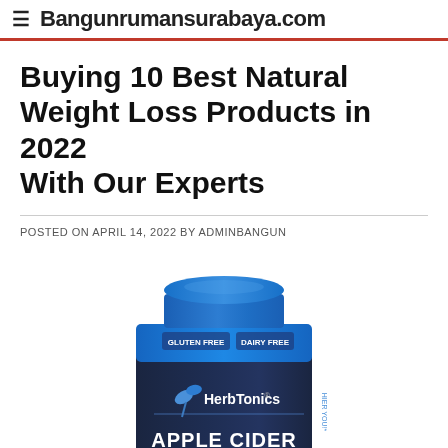≡  Bangunrumansurabaya.com
Buying 10 Best Natural Weight Loss Products in 2022 With Our Experts
POSTED ON APRIL 14, 2022 BY ADMINBANGUN
[Figure (photo): A dark navy blue supplement bottle from HerbTonics brand labeled 'Apple Cider Vinegar' with a blue cap bearing 'GLUTEN FREE' and 'DAIRY FREE' labels]